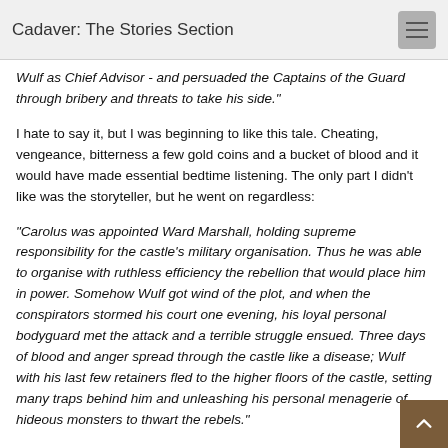Cadaver: The Stories Section
Wulf as Chief Advisor - and persuaded the Captains of the Guard through bribery and threats to take his side."
I hate to say it, but I was beginning to like this tale. Cheating, vengeance, bitterness a few gold coins and a bucket of blood and it would have made essential bedtime listening. The only part I didn't like was the storyteller, but he went on regardless:
"Carolus was appointed Ward Marshall, holding supreme responsibility for the castle's military organisation. Thus he was able to organise with ruthless efficiency the rebellion that would place him in power. Somehow Wulf got wind of the plot, and when the conspirators stormed his court one evening, his loyal personal bodyguard met the attack and a terrible struggle ensued. Three days of blood and anger spread through the castle like a disease; Wulf with his last few retainers fled to the higher floors of the castle, setting many traps behind him and unleashing his personal menagerie of hideous monsters to thwart the rebels."
"All was in vain. The Necromancer Dianos had anticipated the king and lurked in waiting on the upper floor of the castle. Using the